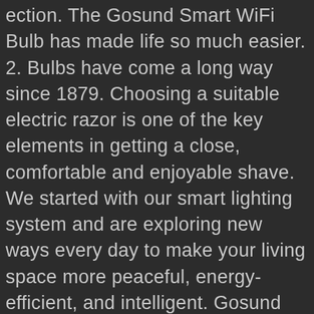ection. The Gosund Smart WiFi Bulb has made life so much easier. 2. Bulbs have come a long way since 1879. Choosing a suitable electric razor is one of the key elements in getting a close, comfortable and enjoyable shave. We started with our smart lighting system and are exploring new ways every day to make your living space more peaceful, energy-efficient, and intelligent. Gosund Smart Light Bulb Works with Alexa, Google 4 Pack, Warmwhite 4pack. You can monitor and control energy usage via the Sengled mobile app remotely, even when you're not home or not connected to the same wireless network as the bulbs and the hub. They will probably control them from your light switch from the switch, and unfortunately, this could un-sync your bulb with your home wifi. SHOW DEAL. That said, it is compatible with the most popular hubs if you want to integrate these bulbs into your smart home network. Register an account with email address. Schedule a Callback Shipping and handling. Best led smart bulbs cyber monday Deals 2020: Looking for best led smart bulbs cyber monday deals 2020 for your daily use. With consistently high